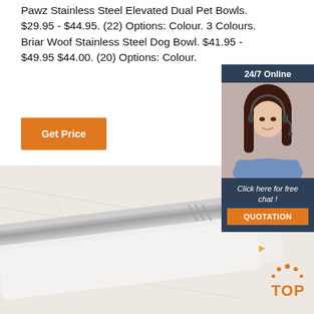Pawz Stainless Steel Elevated Dual Pet Bowls. $29.95 - $44.95. (22) Options: Colour. 3 Colours. Briar Woof Stainless Steel Dog Bowl. $41.95 - $49.95 $44.00. (20) Options: Colour.
[Figure (other): Get Price orange button]
[Figure (other): 24/7 Online chat widget with female customer service agent photo, 'Click here for free chat!' text, and QUOTATION button]
[Figure (photo): Product photo showing a laminator or similar device on a marble surface, with yellow arrow pointing right, and a TOP badge with dots in the bottom right corner]